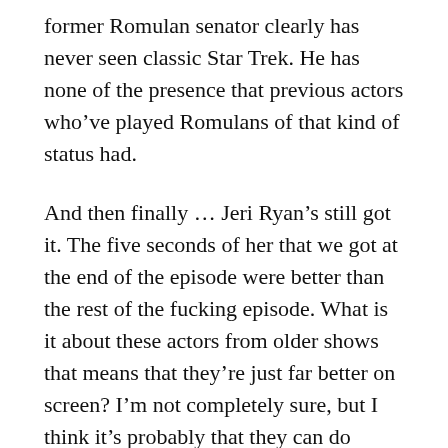former Romulan senator clearly has never seen classic Star Trek. He has none of the presence that previous actors who've played Romulans of that kind of status had.
And then finally … Jeri Ryan's still got it. The five seconds of her that we got at the end of the episode were better than the rest of the fucking episode. What is it about these actors from older shows that means that they're just far better on screen? I'm not completely sure, but I think it's probably that they can do performances with subtlety. The two or three facial expressions that we got from Jeri Ryan at the end of the episode were more engaging than any line said by any other character in the